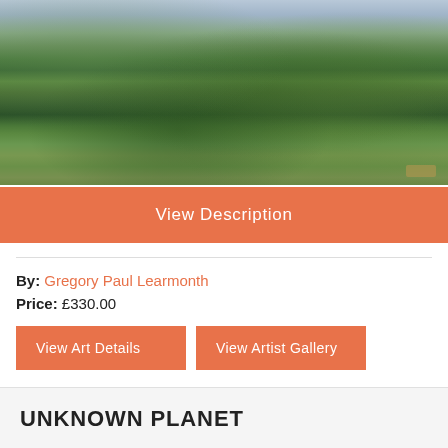[Figure (photo): Impressionist landscape painting showing rolling green hills under a pale blue-grey sky, with dense vegetation in various shades of green. Artist signature visible in lower right corner.]
View Description
By: Gregory Paul Learmonth
Price: £330.00
View Art Details
View Artist Gallery
UNKNOWN PLANET